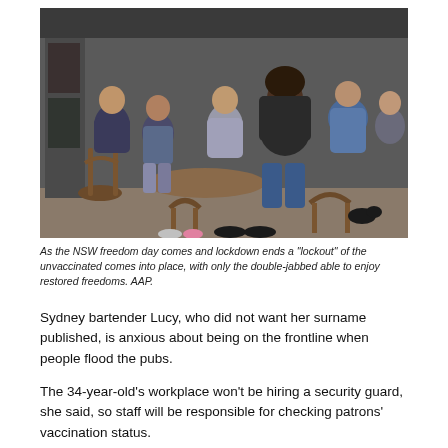[Figure (photo): Group of young people seated around a table at an outdoor/semi-outdoor cafe or pub, with wooden chairs, talking and socialising. A small black dog is visible near one person's feet. The scene appears to be in Australia.]
As the NSW freedom day comes and lockdown ends a "lockout" of the unvaccinated comes into place, with only the double-jabbed able to enjoy restored freedoms. AAP.
Sydney bartender Lucy, who did not want her surname published, is anxious about being on the frontline when people flood the pubs.
The 34-year-old's workplace won't be hiring a security guard, she said, so staff will be responsible for checking patrons' vaccination status.